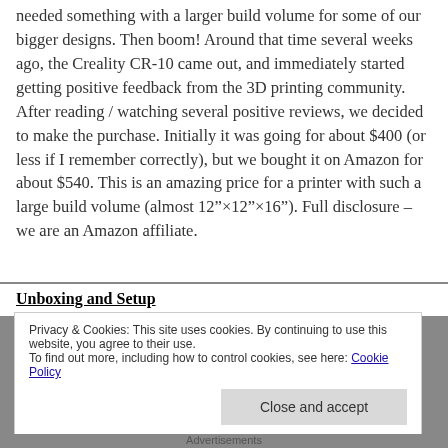needed something with a larger build volume for some of our bigger designs. Then boom! Around that time several weeks ago, the Creality CR-10 came out, and immediately started getting positive feedback from the 3D printing community. After reading / watching several positive reviews, we decided to make the purchase. Initially it was going for about $400 (or less if I remember correctly), but we bought it on Amazon for about $540. This is an amazing price for a printer with such a large build volume (almost 12”×12”×16”). Full disclosure – we are an Amazon affiliate.
Unboxing and Setup
Privacy & Cookies: This site uses cookies. By continuing to use this website, you agree to their use.
To find out more, including how to control cookies, see here: Cookie Policy
Close and accept
Advertisements